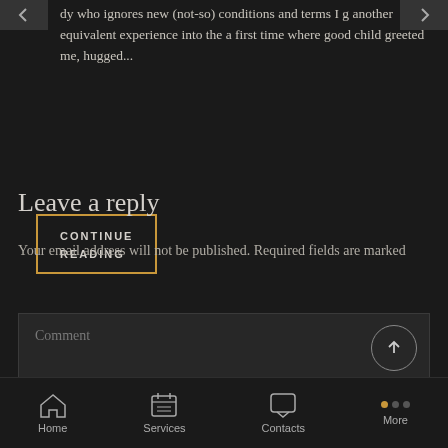dy who ignores new (not-so) conditions and terms I g... another equivalent experience into the a first time where good child greeted me, hugged...
CONTINUE READING
Leave a reply
Your email address will not be published. Required fields are marked
Comment
Home   Services   Contacts   More